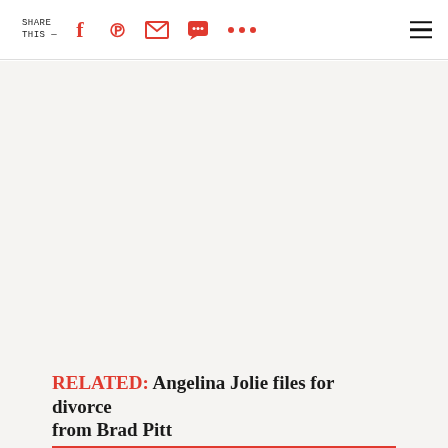SHARE THIS — [Facebook] [Pinterest] [Email] [SMS] [More] [Menu]
[Figure (other): Large empty light gray content area (placeholder/image area)]
RELATED: Angelina Jolie files for divorce from Brad Pitt